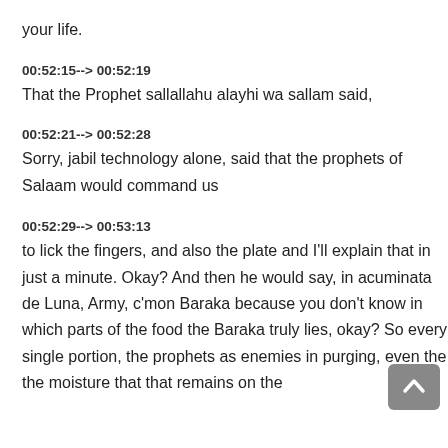your life.
00:52:15--> 00:52:19
That the Prophet sallallahu alayhi wa sallam said,
00:52:21--> 00:52:28
Sorry, jabil technology alone, said that the prophets of Salaam would command us
00:52:29--> 00:53:13
to lick the fingers, and also the plate and I'll explain that in just a minute. Okay? And then he would say, in acuminata de Luna, Army, c'mon Baraka because you don't know in which parts of the food the Baraka truly lies, okay? So every single portion, the prophets as enemies in purging, even the the moisture that that remains on the